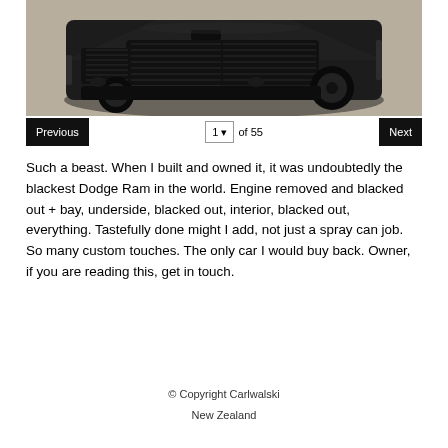[Figure (photo): Front view of a fully blacked-out Dodge Ram truck photographed from above and slightly to the front, showing the grille, hood, and front wheels. The vehicle is entirely black including chrome trim. Background is a beige/tan surface.]
Previous  1 of 55  Next
Such a beast. When I built and owned it, it was undoubtedly the blackest Dodge Ram in the world. Engine removed and blacked out + bay, underside, blacked out, interior, blacked out, everything. Tastefully done might I add, not just a spray can job. So many custom touches. The only car I would buy back. Owner, if you are reading this, get in touch.
© Copyright Carlwalski
New Zealand